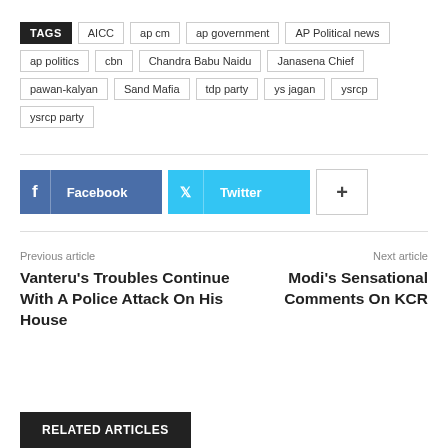TAGS  AICC  ap cm  ap government  AP Political news  ap politics  cbn  Chandra Babu Naidu  Janasena Chief  pawan-kalyan  Sand Mafia  tdp party  ys jagan  ysrcp  ysrcp party
[Figure (other): Social sharing buttons: Facebook, Twitter, and a plus button]
Previous article
Vanteru's Troubles Continue With A Police Attack On His House
Next article
Modi's Sensational Comments On KCR
RELATED ARTICLES